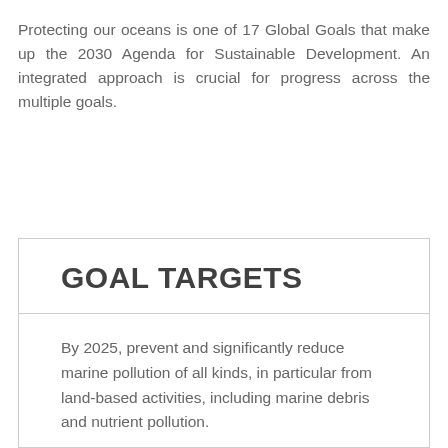Protecting our oceans is one of 17 Global Goals that make up the 2030 Agenda for Sustainable Development. An integrated approach is crucial for progress across the multiple goals.
GOAL TARGETS
By 2025, prevent and significantly reduce marine pollution of all kinds, in particular from land-based activities, including marine debris and nutrient pollution.